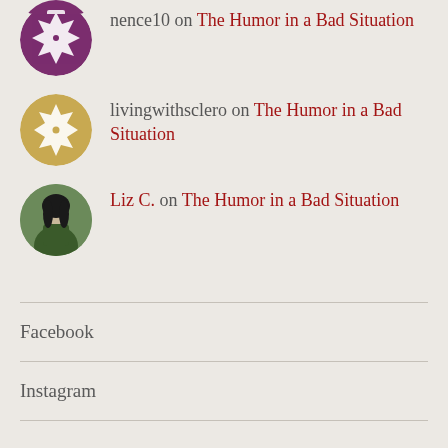nence10 on The Humor in a Bad Situation
livingwithsclero on The Humor in a Bad Situation
Liz C. on The Humor in a Bad Situation
Facebook
Instagram
Running Through Life / Blog at WordPress.com.